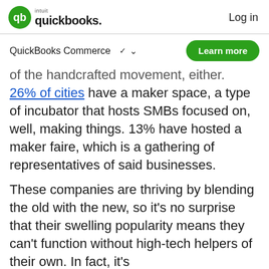intuit quickbooks. | Log in
QuickBooks Commerce ∨
of the handcrafted movement, either. 26% of cities have a maker space, a type of incubator that hosts SMBs focused on, well, making things. 13% have hosted a maker faire, which is a gathering of representatives of said businesses.
These companies are thriving by blending the old with the new, so it's no surprise that their swelling popularity means they can't function without high-tech helpers of their own. In fact, it's